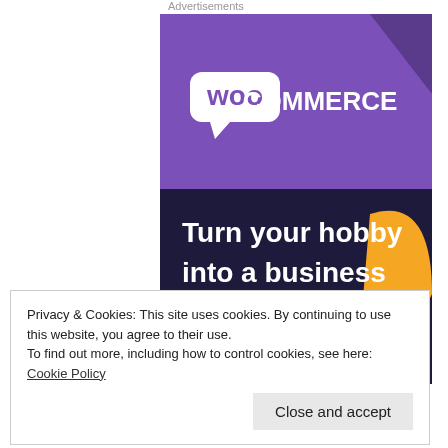Advertisements
[Figure (illustration): WooCommerce advertisement banner with purple background and orange accent shape. Shows WooCommerce logo at top with speech-bubble style 'woo' icon and 'COMMERCE' text. Large bold white text reads 'Turn your hobby into a business in 8 steps' on dark navy/purple background.]
Privacy & Cookies: This site uses cookies. By continuing to use this website, you agree to their use.
To find out more, including how to control cookies, see here: Cookie Policy
Close and accept